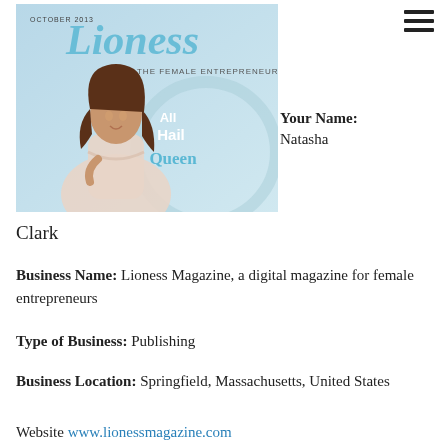[Figure (photo): Cover of Lioness Magazine, October 2013 issue, featuring a woman in a white dress with text 'All Hail Queen' and tagline 'For the Female Entrepreneur']
Your Name: Natasha
Clark
Business Name: Lioness Magazine, a digital magazine for female entrepreneurs
Type of Business: Publishing
Business Location: Springfield, Massachusetts, United States
Website www.lionessmagazine.com